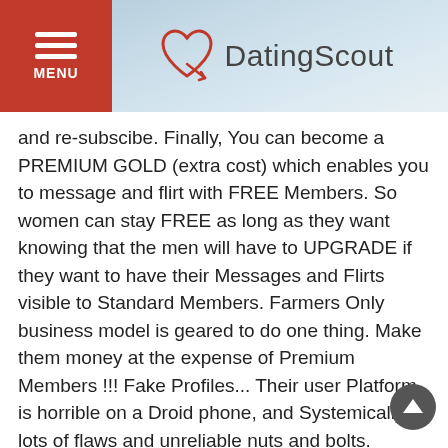DatingScout — MENU header with logo
and re-subscibe. Finally, You can become a PREMIUM GOLD (extra cost) which enables you to message and flirt with FREE Members. So women can stay FREE as long as they want knowing that the men will have to UPGRADE if they want to have their Messages and Flirts visible to Standard Members. Farmers Only business model is geared to do one thing. Make them money at the expense of Premium Members !!! Fake Profiles... Their user Platform is horrible on a Droid phone, and Systemically, lots of flaws and unreliable nuts and bolts. Spend Your money else where !!! I would give this dating site ZERO Stars if I could !!! : / «